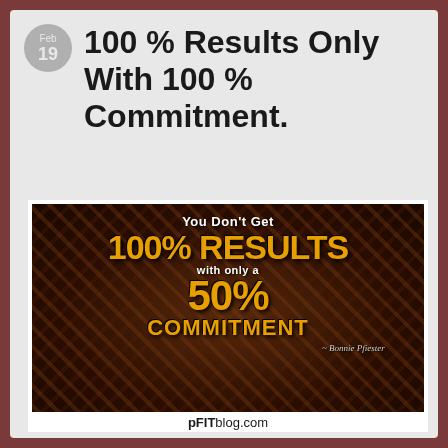Feb 19
100 % Results Only With 100 % Commitment.
[Figure (illustration): Motivational quote image on a dark metallic diamond-plate background. Text reads: 'You Don't Get 100% RESULTS with only a 50% COMMITMENT' — Bonnie Pfiester. Bottom shows 'pFITblog.com']